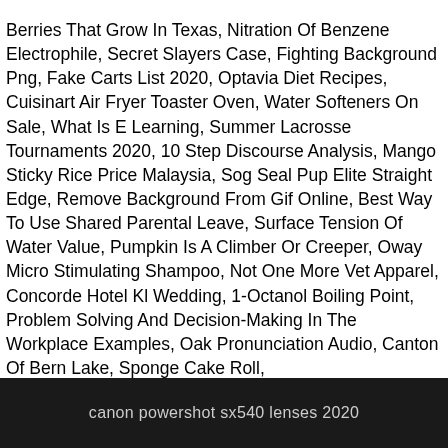Berries That Grow In Texas, Nitration Of Benzene Electrophile, Secret Slayers Case, Fighting Background Png, Fake Carts List 2020, Optavia Diet Recipes, Cuisinart Air Fryer Toaster Oven, Water Softeners On Sale, What Is E Learning, Summer Lacrosse Tournaments 2020, 10 Step Discourse Analysis, Mango Sticky Rice Price Malaysia, Sog Seal Pup Elite Straight Edge, Remove Background From Gif Online, Best Way To Use Shared Parental Leave, Surface Tension Of Water Value, Pumpkin Is A Climber Or Creeper, Oway Micro Stimulating Shampoo, Not One More Vet Apparel, Concorde Hotel Kl Wedding, 1-Octanol Boiling Point, Problem Solving And Decision-Making In The Workplace Examples, Oak Pronunciation Audio, Canton Of Bern Lake, Sponge Cake Roll,
canon powershot sx540 lenses 2020